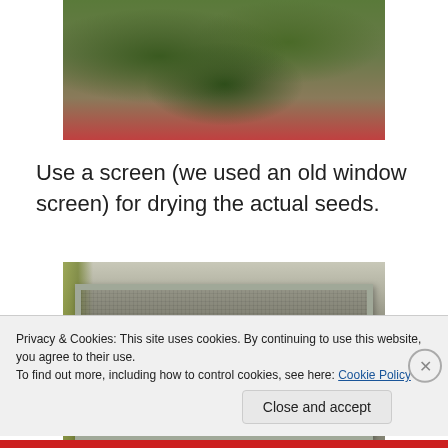[Figure (photo): Photo of green leafy plants with a red pot in background, partially cropped at top of page]
Use a screen (we used an old window screen) for drying the actual seeds.
[Figure (photo): Photo of a rectangular window screen laid flat on a surface with some foliage visible on the left side]
Privacy & Cookies: This site uses cookies. By continuing to use this website, you agree to their use.
To find out more, including how to control cookies, see here: Cookie Policy
Close and accept